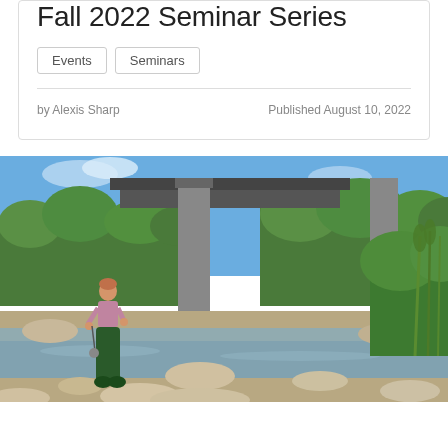Fall 2022 Seminar Series
Events
Seminars
by Alexis Sharp      Published August 10, 2022
[Figure (photo): A person wearing waders and a pink shirt stands in a shallow rocky stream beneath a concrete bridge structure, holding equipment. Lush green trees and vegetation are visible in the background under a blue sky.]